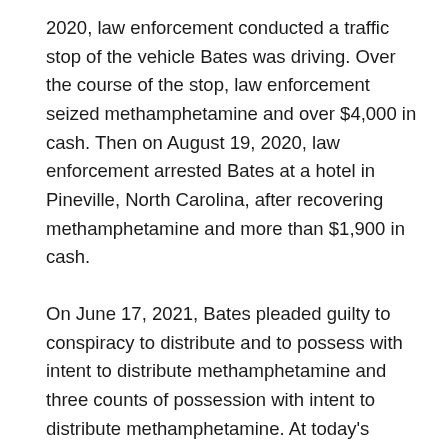2020, law enforcement conducted a traffic stop of the vehicle Bates was driving. Over the course of the stop, law enforcement seized methamphetamine and over $4,000 in cash. Then on August 19, 2020, law enforcement arrested Bates at a hotel in Pineville, North Carolina, after recovering methamphetamine and more than $1,900 in cash.
On June 17, 2021, Bates pleaded guilty to conspiracy to distribute and to possess with intent to distribute methamphetamine and three counts of possession with intent to distribute methamphetamine. At today's sentencing hearing, Bates's sentence was enhanced due to his multiple prior convictions of felony Breaking and Entering, Embezzlement, Grand Larceny, Possession of Methamphetamine, Receiving Stolen Goods, and Possession with Intent to Distribute Methamphetamine.